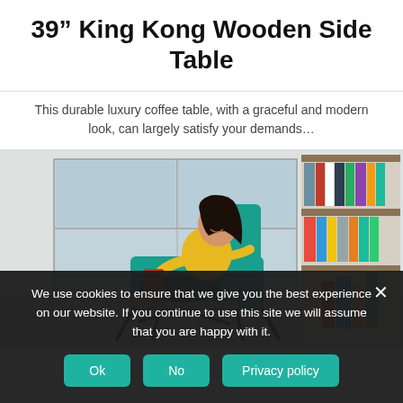39” King Kong Wooden Side Table
This durable luxury coffee table, with a graceful and modern look, can largely satisfy your demands...
[Figure (photo): Woman in yellow top sitting in a teal lounge chair reading a book near a large window, with wall-mounted bookshelves on the right]
We use cookies to ensure that we give you the best experience on our website. If you continue to use this site we will assume that you are happy with it.